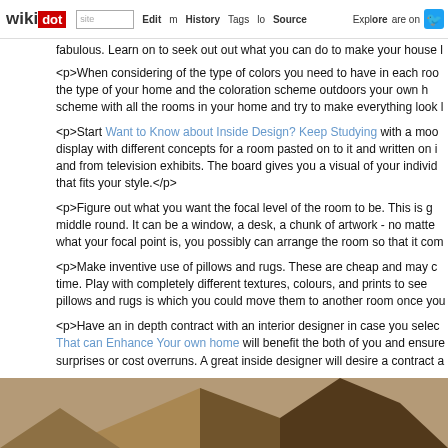wikidot | site | Edit | History | Tags | Source | Explore | Share on
fabulous. Learn on to seek out out what you can do to make your house l
<p>When considering of the type of colors you need to have in each roo the type of your home and the coloration scheme outdoors your own h scheme with all the rooms in your home and try to make everything look l
<p>Start Want to Know about Inside Design? Keep Studying with a moo display with different concepts for a room pasted on to it and written on i and from television exhibits. The board gives you a visual of your individ that fits your style.</p>
<p>Figure out what you want the focal level of the room to be. This is g middle round. It can be a window, a desk, a chunk of artwork - no matte what your focal point is, you possibly can arrange the room so that it com
<p>Make inventive use of pillows and rugs. These are cheap and may c time. Play with completely different textures, colours, and prints to see pillows and rugs is which you could move them to another room once you
<p>Have an in depth contract with an interior designer in case you selec That can Enhance Your own home will benefit the both of you and ensure surprises or cost overruns. A great inside designer will desire a contract a they are a reputable businessperson.</p>
[Figure (photo): Interior design image showing wooden/brown geometric shapes or furniture, tan and dark brown tones, viewed from above/angle]